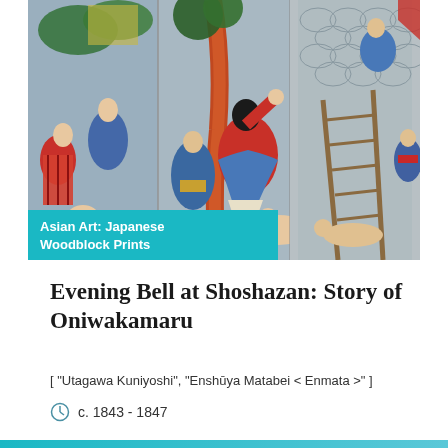[Figure (photo): Japanese woodblock print triptych showing a battle scene with multiple figures in traditional Japanese clothing, dynamic composition with red, blue, yellow, and grey tones. Title banner overlay reads 'Asian Art: Japanese Woodblock Prints' in white bold text on teal background.]
Evening Bell at Shoshazan: Story of Oniwakamaru
[ "Utagawa Kuniyoshi", "Enshūya Matabei < Enmata >" ]
c. 1843 - 1847